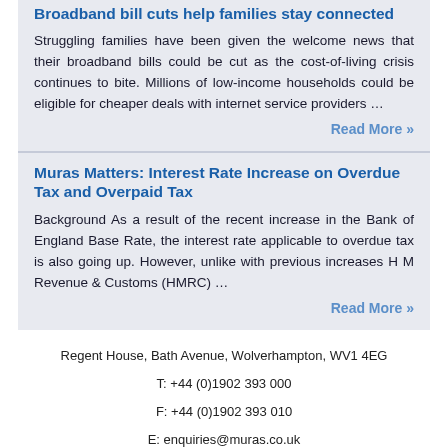Broadband bill cuts help families stay connected
Struggling families have been given the welcome news that their broadband bills could be cut as the cost-of-living crisis continues to bite. Millions of low-income households could be eligible for cheaper deals with internet service providers …
Read More »
Muras Matters: Interest Rate Increase on Overdue Tax and Overpaid Tax
Background As a result of the recent increase in the Bank of England Base Rate, the interest rate applicable to overdue tax is also going up. However, unlike with previous increases H M Revenue & Customs (HMRC) …
Read More »
Regent House, Bath Avenue, Wolverhampton, WV1 4EG
T: +44 (0)1902 393 000
F: +44 (0)1902 393 010
E: enquiries@muras.co.uk
W: www.muras.co.uk